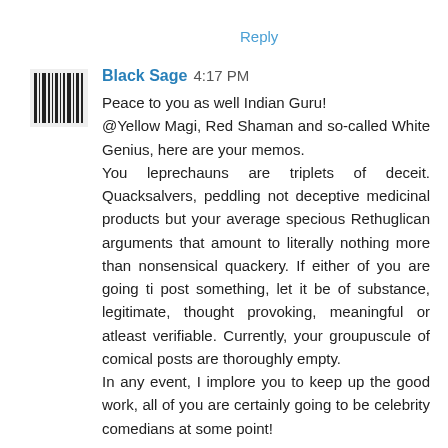Reply
Black Sage  4:17 PM
Peace to you as well Indian Guru!
@Yellow Magi, Red Shaman and so-called White Genius, here are your memos.
You leprechauns are triplets of deceit. Quacksalvers, peddling not deceptive medicinal products but your average specious Rethuglican arguments that amount to literally nothing more than nonsensical quackery. If either of you are going ti post something, let it be of substance, legitimate, thought provoking, meaningful or atleast verifiable. Currently, your groupuscule of comical posts are thoroughly empty.
In any event, I implore you to keep up the good work, all of you are certainly going to be celebrity comedians at some point!